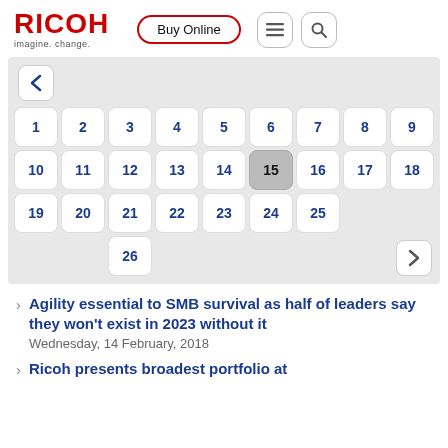[Figure (logo): RICOH logo with red text and 'imagine. change.' tagline]
[Figure (screenshot): Calendar widget showing days 1-26, with day 15 highlighted in gray, navigation arrows on left and right]
Agility essential to SMB survival as half of leaders say they won't exist in 2023 without it — Wednesday, 14 February, 2018
Ricoh presents broadest portfolio at